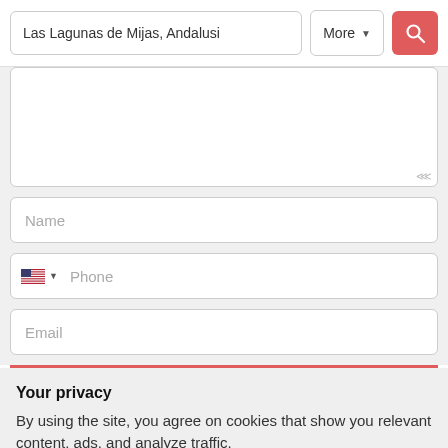[Figure (screenshot): Search bar with text 'Las Lagunas de Mijas, Andalusi', a 'More' dropdown button, and a red search icon button]
[Figure (screenshot): Web form with textarea, Name field, Phone field with US flag selector, Email field, and a red submit bar]
Your privacy
By using the site, you agree on cookies that show you relevant content, ads, and analyze traffic.
[Figure (screenshot): Two buttons: 'Ok' outlined button and 'More information' text link, both in blue]